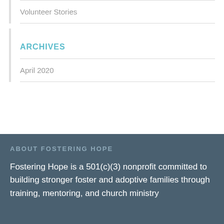Volunteer Stories
ARCHIVES
April 2020
ABOUT FOSTERING HOPE
Fostering Hope is a 501(c)(3) nonprofit committed to building stronger foster and adoptive families through training, mentoring, and church ministry